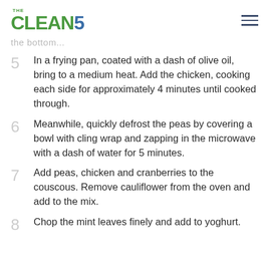THE CLEAN5
the bottom...
In a frying pan, coated with a dash of olive oil, bring to a medium heat. Add the chicken, cooking each side for approximately 4 minutes until cooked through.
Meanwhile, quickly defrost the peas by covering a bowl with cling wrap and zapping in the microwave with a dash of water for 5 minutes.
Add peas, chicken and cranberries to the couscous. Remove cauliflower from the oven and add to the mix.
Chop the mint leaves finely and add to yoghurt.